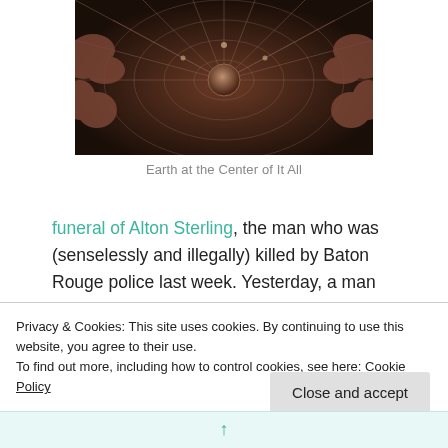[Figure (illustration): Dark circular illustration showing Earth at the center with radiating lines and cloud-like shapes around the edges, in sepia/brown tones]
Earth at the Center of It All
funeral of Alton Sterling, the man who was (senselessly and illegally) killed by Baton Rouge police last week. Yesterday, a man drove a semi-truck full of weapons into an unarmed crowd in Nice, killing at least 80 and probably more. Last month, Omar Mateen shot and killed 49 people at an Orlando nightclub
Privacy & Cookies: This site uses cookies. By continuing to use this website, you agree to their use.
To find out more, including how to control cookies, see here: Cookie Policy
Close and accept